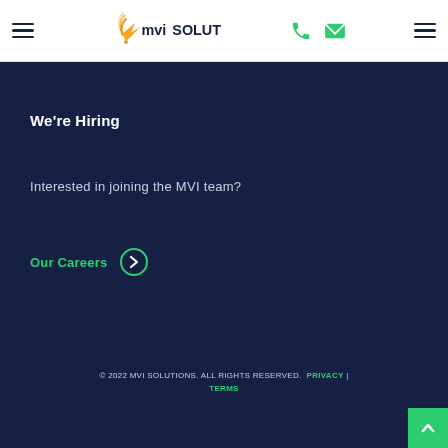mviSOLUTIONS header with navigation icons
We're Hiring
Interested in joining the MVI team?
Our Careers →
© 2022 MVI SOLUTIONS. ALL RIGHTS RESERVED.  PRIVACY | TERMS